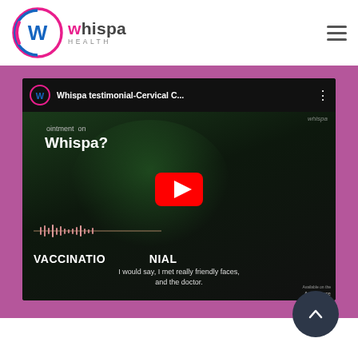[Figure (logo): Whispa Health logo with circular W icon and HEALTH text below brand name]
[Figure (screenshot): YouTube video thumbnail showing Whispa testimonial - Cervical Cancer vaccination testimonial video with play button. Shows 'Whispa?' text, VACCINATION TESTIMONIAL text, waveform graphic, and subtitle: 'I would say, I met really friendly faces, and the doctor.']
[Figure (other): Dark circular scroll-to-top button with upward chevron arrow]